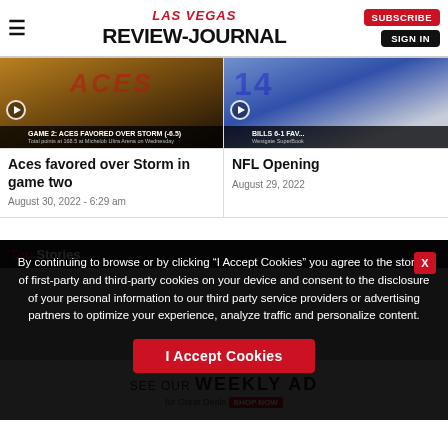LAS VEGAS REVIEW-JOURNAL | SUBSCRIBE | SIGN IN
[Figure (screenshot): Basketball court thumbnail for Aces vs Storm game 2, with play button and overlay text: GAME 2: ACES FAVORED OVER STORM (-6.5) / Total points at 168.5 at Michelob Ultra Arena on Wednesday]
Aces favored over Storm in game two
August 30, 2022 - 6:29 am
[Figure (screenshot): NFL football players thumbnail with play button and overlay text: BILLS 6-1 FAV... / Westgate SuperBook]
NFL Opening
August 29, 2022
By continuing to browse or by clicking “I Accept Cookies” you agree to the storing of first-party and third-party cookies on your device and consent to the disclosure of your personal information to our third party service providers or advertising partners to optimize your experience, analyze traffic and personalize content.
I Accept Cookies
SEE OUR WEEKLY AD for Great Deals SHOP NOW